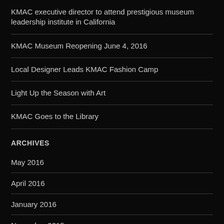KMAC executive director to attend prestigious museum leadership institute in California
KMAC Museum Reopening June 4, 2016
Local Designer Leads KMAC Fashion Camp
Light Up the Season with Art
KMAC Goes to the Library
ARCHIVES
May 2016
April 2016
January 2016
November 2015